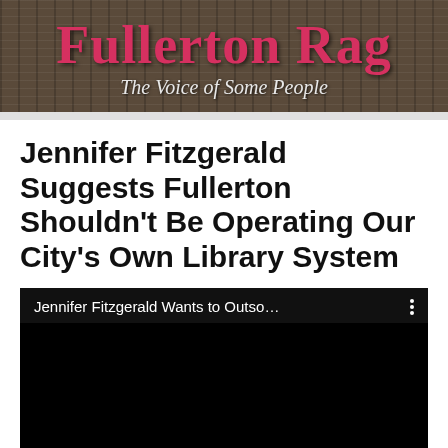[Figure (photo): Fullerton Rag newspaper banner with wood plank background. Title in red serif font partially visible, subtitle reads 'The Voice of Some People' in white italic text.]
Jennifer Fitzgerald Suggests Fullerton Shouldn't Be Operating Our City's Own Library System
[Figure (screenshot): Embedded black video player screenshot with title bar reading 'Jennifer Fitzgerald Wants to Outso...' and a vertical three-dot menu icon on the right.]